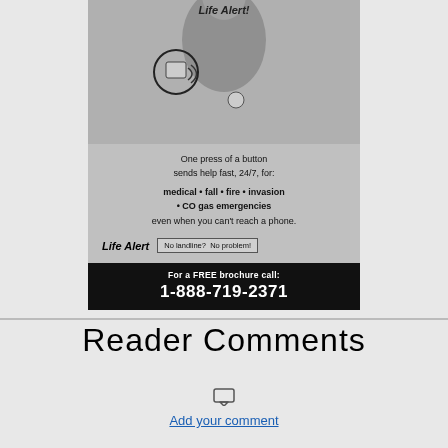[Figure (illustration): Life Alert advertisement showing a person wearing a medical alert pendant device. Top section shows grayscale photo of person with device. Middle section has text about emergency service. Bottom black bar shows phone number for free brochure.]
Reader Comments
Add your comment